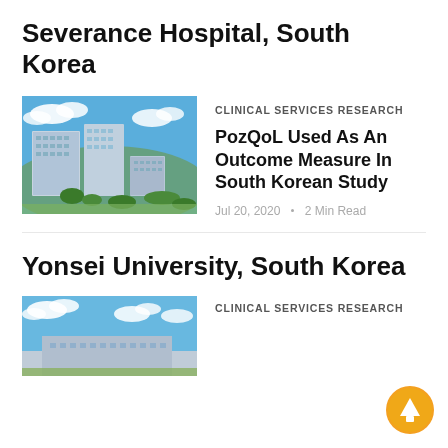Severance Hospital, South Korea
[Figure (photo): Aerial/exterior photo of Severance Hospital buildings against a blue sky with clouds]
CLINICAL SERVICES RESEARCH
PozQoL Used As An Outcome Measure In South Korean Study
Jul 20, 2020 · 2 Min Read
Yonsei University, South Korea
[Figure (photo): Exterior photo of Yonsei University building against blue sky with clouds (partially visible)]
CLINICAL SERVICES RESEARCH